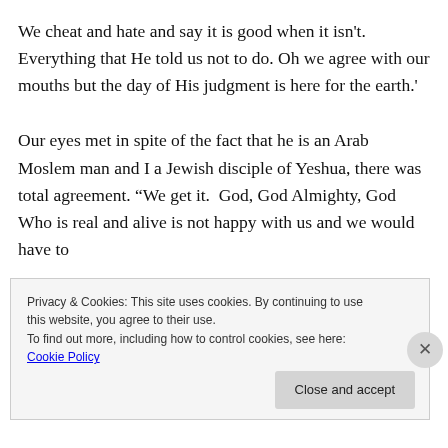We cheat and hate and say it is good when it isn't. Everything that He told us not to do. Oh we agree with our mouths but the day of His judgment is here for the earth.'
Our eyes met in spite of the fact that he is an Arab Moslem man and I a Jewish disciple of Yeshua, there was total agreement. “We get it.  God, God Almighty, God Who is real and alive is not happy with us and we would have to
Privacy & Cookies: This site uses cookies. By continuing to use this website, you agree to their use.
To find out more, including how to control cookies, see here: Cookie Policy
Close and accept